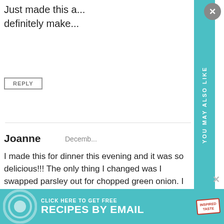Just made this a... definitely make...
REPLY
[Figure (screenshot): You May Also Like sidebar overlay in teal with arrow pointing down, and inspired taste logo with muted speaker icon and stamp]
Joanne   December...
I made this for dinner this evening and it was so delicious!!! The only thing I changed was I swapped parsley out for chopped green onion. I ran out of parsley, though still had green onion. Loved it. Will do this again. Thank you
[Figure (other): 4 out of 5 gold stars rating]
REPLY
[Figure (infographic): Click here to get free recipes by email - Inspired Taste banner ad in teal]